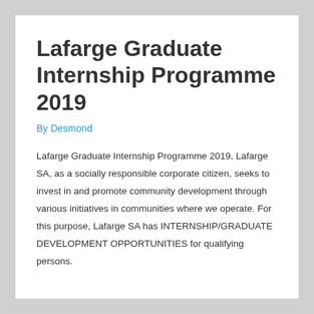Lafarge Graduate Internship Programme 2019
By Desmond
Lafarge Graduate Internship Programme 2019, Lafarge SA, as a socially responsible corporate citizen, seeks to invest in and promote community development through various initiatives in communities where we operate. For this purpose, Lafarge SA has INTERNSHIP/GRADUATE DEVELOPMENT OPPORTUNITIES for qualifying persons.